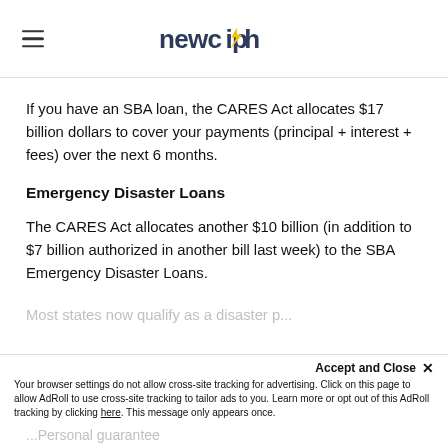newchip
If you have an SBA loan, the CARES Act allocates $17 billion dollars to cover your payments (principal + interest + fees) over the next 6 months.
Emergency Disaster Loans
The CARES Act allocates another $10 billion (in addition to $7 billion authorized in another bill last week) to the SBA Emergency Disaster Loans.
Most states now qualify as a disaster p...
Accept and Close ✕
Your browser settings do not allow cross-site tracking for advertising. Click on this page to allow AdRoll to use cross-site tracking to tailor ads to you. Learn more or opt out of this AdRoll tracking by clicking here. This message only appears once.
...Personal guarantee